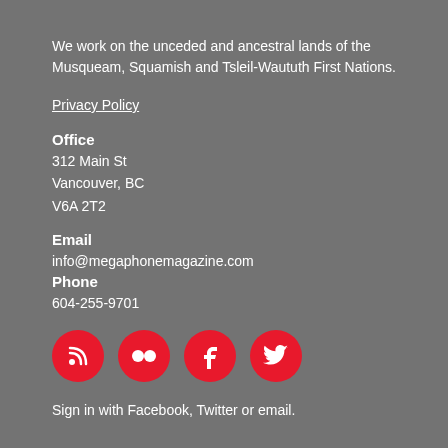We work on the unceded and ancestral lands of the Musqueam, Squamish and Tsleil-Waututh First Nations.
Privacy Policy
Office
312 Main St
Vancouver, BC
V6A 2T2
Email
info@megaphonemagazine.com
Phone
604-255-9701
[Figure (infographic): Four red circular social media icon buttons: RSS feed, Flickr, Facebook, Twitter]
Sign in with Facebook, Twitter or email.